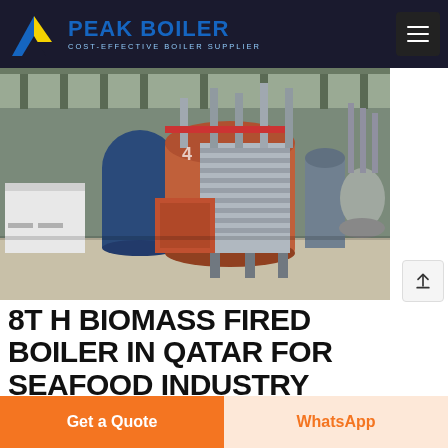PEAK BOILER — COST-EFFECTIVE BOILER SUPPLIER
[Figure (photo): Industrial boiler room showing multiple large cylindrical biomass-fired boilers with pipes and equipment inside a warehouse facility.]
8T H BIOMASS FIRED BOILER IN QATAR FOR SEAFOOD INDUSTRY
biomass boiler - biomass boiler, 8t h biomass boiler in qatar
Get a Quote
WhatsApp